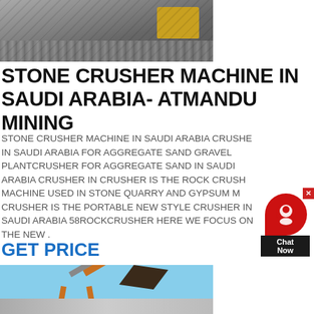[Figure (photo): Top photo of stone crusher machine / aggregate pile with heavy equipment, partially visible]
STONE CRUSHER MACHINE IN SAUDI ARABIA- ATMANDU MINING
STONE CRUSHER MACHINE IN SAUDI ARABIA CRUSHER IN SAUDI ARABIA FOR AGGREGATE SAND GRAVEL PLANTCRUSHER FOR AGGREGATE SAND IN SAUDI ARABIA CRUSHER IN CRUSHER IS THE ROCK CRUSHER MACHINE USED IN STONE QUARRY AND GYPSUM MOCRUSHER IS THE PORTABLE NEW STYLE CRUSHER IN SAUDI ARABIA 58ROCKCRUSHER HERE WE FOCUS ON THE NEW .
GET PRICE
[Figure (photo): Bottom photo of orange and black conveyor belt / mining equipment against blue sky background]